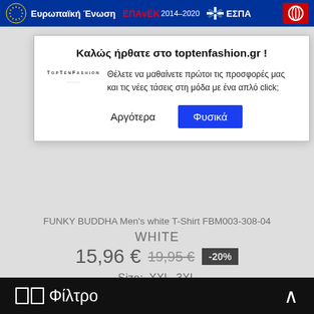Ευρωπαϊκή Ένωση  ΕΠΑvΕΚ 2014–2020  ΕΣΠΑ
Καλώς ήρθατε στο toptenfashion.gr !
Θέλετε να μαθαίνετε πρώτοι τις προσφορές μας και τις νέες τάσεις στη μόδα με ένα απλό click;
Αργότερα  Φυσικά
FUNKY BUDDHA Men's white T-Shirt FBM003-308-04
WHITE
15,96 € 19,95 € -20%
Size:  XXL  3XL
We use cokkies to improove website experience
Φίλτρο